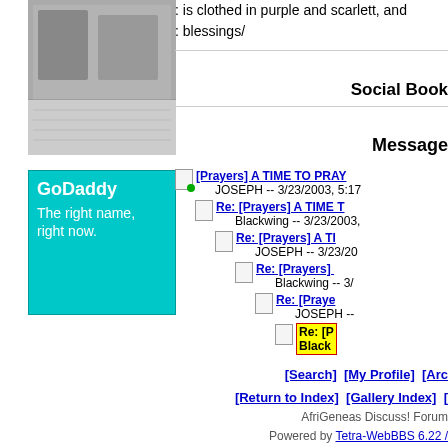[Figure (photo): Old black and white photograph of people]
[Figure (illustration): GoDaddy advertisement: cyan/teal background, text 'GoDaddy The right name, right now.']
: is clothed in purple and scarlett, and
: blessings/
Social Book
Message
[Prayers] A TIME TO PRAY... JOSEPH -- 3/23/2003, 5:17
Re: [Prayers] A TIME T... Blackwing -- 3/23/2003,
Re: [Prayers] A TI... JOSEPH -- 3/23/20
Re: [Prayers] ... Blackwing -- 3/
Re: [Praye... JOSEPH --
Re: [P... Black
[Search]  [My Profile]  [Arc
[Return to Index]  [Gallery Index]  [
AfriGeneas Discuss! Forum
Powered by Tetra-WebBBS 6.22 /